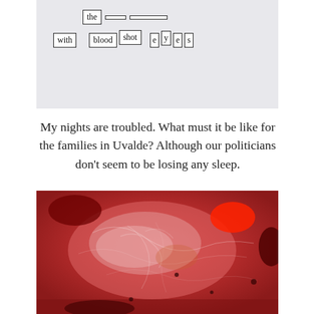[Figure (illustration): Word collage on light gray background showing cut-out word boxes: 'the', and partial boxes on top row; second row shows 'with', 'blood', 'shot', 'e', 'y', 'e', 's' in individual bordered boxes]
My nights are troubled. What must it be like for the families in Uvalde? Although our politicians don't seem to be losing any sleep.
[Figure (photo): Close-up abstract photograph of a red textured surface resembling flesh or organic material, with swirling veined patterns in shades of red, pink, white, and dark maroon]